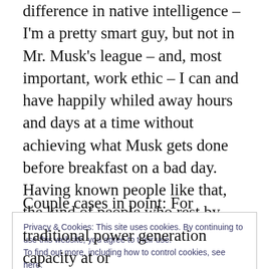difference in native intelligence – I'm a pretty smart guy, but not in Mr. Musk's league – and, most important, work ethic – I can and have happily whiled away hours and days at a time without achieving what Musk gets done before breakfast on a bad day. Having known people like that, the kind of people who rest by thinking about solutions to some other problem, I get tired just thinking about it.
Couple cases in point: For decades, my
Privacy & Cookies: This site uses cookies. By continuing to use this website, you agree to their use.
To find out more, including how to control cookies, see here:
Cookie Policy
Close and accept
traditional power generation capacity at or